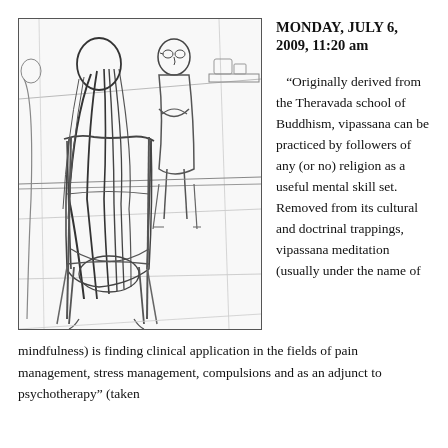MONDAY, JULY 6, 2009, 11:20 am
[Figure (illustration): Pencil sketch of two people seated in chairs. In the foreground, a person with long hair is seen from behind, seated in a folding chair. In the background, another person (appears to be an instructor or teacher) sits facing slightly away, with crossed arms and wearing glasses. The setting appears to be a meditation or classroom environment.]
“Originally derived from the Theravada school of Buddhism, vipassana can be practiced by followers of any (or no) religion as a useful mental skill set. Removed from its cultural and doctrinal trappings, vipassana meditation (usually under the name of mindfulness) is finding clinical application in the fields of pain management, stress management, compulsions and as an adjunct to psychotherapy” (taken